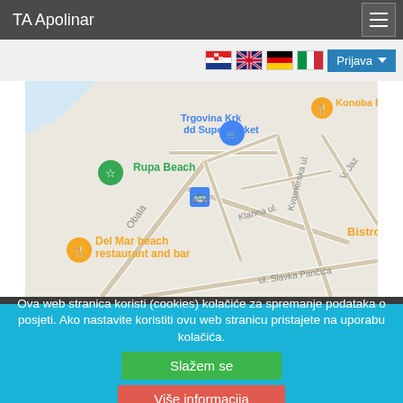TA Apolinar
[Figure (map): Google Maps view showing Krk town area with labeled locations: Rupa Beach (green pin), Trgovina Krk dd Supermarket (blue shopping cart pin), Konoba Brace (orange fork/knife pin), Del Mar beach restaurant and bar (orange fork/knife pin), Bistro (text label). Streets labeled: Obala, Klarina ul., Kvarnerska ul., V. Jaz, ul. Slavka Pančića. Blue bus stop icon visible.]
Ova web stranica koristi (cookies) kolačiće za spremanje podataka o posjeti. Ako nastavite koristiti ovu web stranicu pristajete na uporabu kolačića.
Slažem se
Više informacija